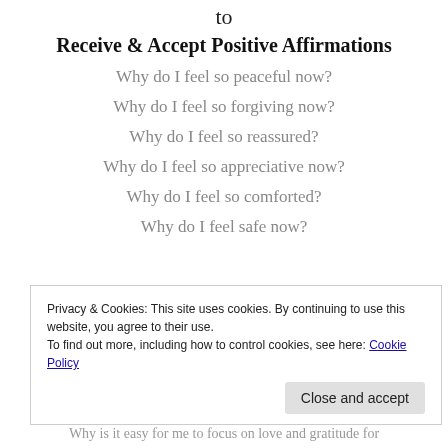to
Receive & Accept Positive Affirmations
Why do I feel so peaceful now?
Why do I feel so forgiving now?
Why do I feel so reassured?
Why do I feel so appreciative now?
Why do I feel so comforted?
Why do I feel safe now?
Privacy & Cookies: This site uses cookies. By continuing to use this website, you agree to their use. To find out more, including how to control cookies, see here: Cookie Policy
Why is it easy for me to focus on love and gratitude for